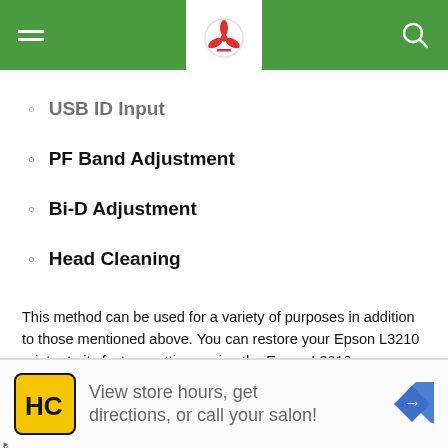[Figure (screenshot): Green navigation bar with hamburger menu, circular logo in white tab, and search icon]
USB ID Input
PF Band Adjustment
Bi-D Adjustment
Head Cleaning
This method can be used for a variety of purposes in addition to those mentioned above. You can restore your Epson L3210 printer to its factory settings using the Epson L3210 Adjustment Software, which means your printer will begin printing with the same settings you had when you first used it.
[Figure (infographic): Advertisement banner: HC logo in yellow box, text 'View store hours, get directions, or call your salon!', blue navigation arrow icon on right]